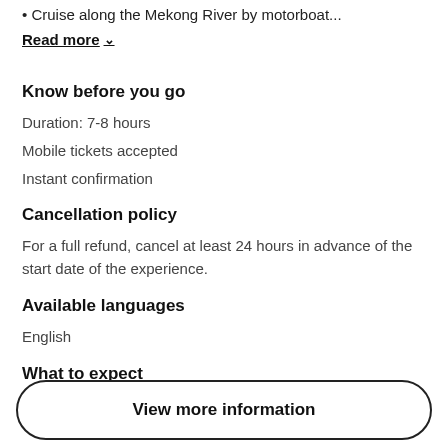• Cruise along the Mekong River by motorboat...
Read more ∨
Know before you go
Duration: 7-8 hours
Mobile tickets accepted
Instant confirmation
Cancellation policy
For a full refund, cancel at least 24 hours in advance of the start date of the experience.
Available languages
English
What to expect
View more information